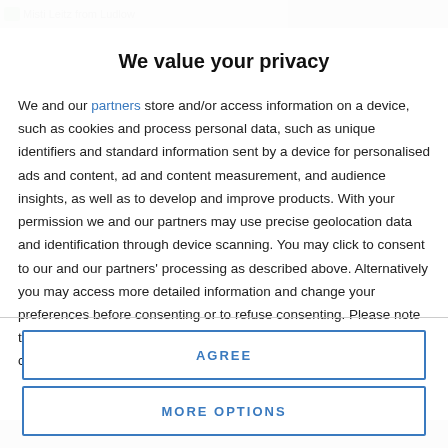[Figure (photo): Partial screenshot background showing website content behind privacy overlay. Top bar shows 'Misti Leitz from Ludlow' text with a small green icon, and a gray image on the right.]
We value your privacy
We and our partners store and/or access information on a device, such as cookies and process personal data, such as unique identifiers and standard information sent by a device for personalised ads and content, ad and content measurement, and audience insights, as well as to develop and improve products. With your permission we and our partners may use precise geolocation data and identification through device scanning. You may click to consent to our and our partners' processing as described above. Alternatively you may access more detailed information and change your preferences before consenting or to refuse consenting. Please note that some processing of your personal data may not require your consent, but you have a right to
AGREE
MORE OPTIONS